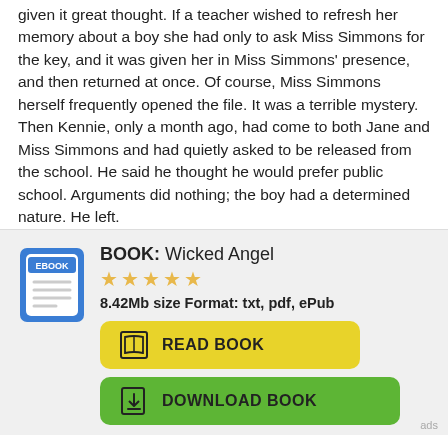given it great thought. If a teacher wished to refresh her memory about a boy she had only to ask Miss Simmons for the key, and it was given her in Miss Simmons' presence, and then returned at once. Of course, Miss Simmons herself frequently opened the file. It was a terrible mystery. Then Kennie, only a month ago, had come to both Jane and Miss Simmons and had quietly asked to be released from the school. He said he thought he would prefer public school. Arguments did nothing; the boy had a determined nature. He left.
[Figure (illustration): eBook promotional card with ebook icon, star rating, file size info, and two buttons: READ BOOK (yellow) and DOWNLOAD BOOK (green). Book title: Wicked Angel.]